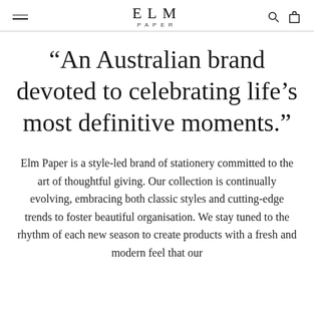ELM PAPER
“An Australian brand devoted to celebrating life’s most definitive moments.”
Elm Paper is a style-led brand of stationery committed to the art of thoughtful giving. Our collection is continually evolving, embracing both classic styles and cutting-edge trends to foster beautiful organisation. We stay tuned to the rhythm of each new season to create products with a fresh and modern feel that our